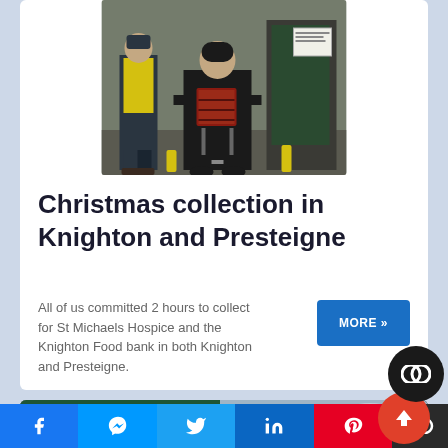[Figure (photo): Two people standing outside a building. One person wears a yellow hi-vis vest, another is seated playing a red accordion. Collected for charity.]
Christmas collection in Knighton and Presteigne
All of us committed 2 hours to collect for St Michaels Hospice and the Knighton Food bank in both Knighton and Presteigne.
[Figure (other): Partial view of a second article card showing a green structure against a cloudy sky.]
f  [messenger]  [twitter]  in  [pinterest]  [toggle]